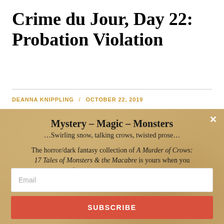Crime du Jour, Day 22: Probation Violation
DEANNA KNIPPLING / OCTOBER 22, 2019
[Figure (other): Parchment-textured newsletter signup popup with title 'Mystery - Magic - Monsters', subtitle '...Swirling snow, talking crows, twisted prose...', body text about A Murder of Crows collection, email input field and Subscribe button.]